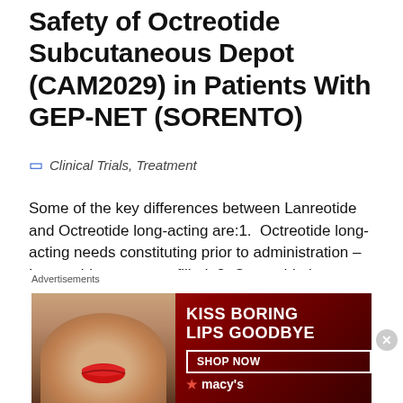Safety of Octreotide Subcutaneous Depot (CAM2029) in Patients With GEP-NET (SORENTO)
Clinical Trials, Treatment
Some of the key differences between Lanreotide and Octreotide long-acting are:1.  Octreotide long-acting needs constituting prior to administration – Lanreotide comes prefilled. 2. Octreotide long-acting is administered intra-muscular, Lanreotide is deep subcutaneous. 3.  I probably should add Octreotide LAR cannot be self-injected but Lanreotide can.  I suspect this
[Figure (photo): Advertisement banner for Macy's: 'KISS BORING LIPS GOODBYE' with SHOP NOW button and Macy's star logo, featuring a woman's face with red lips]